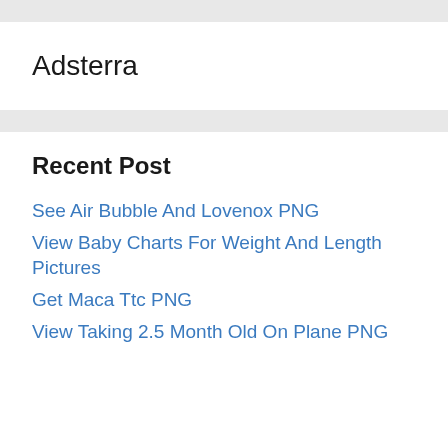Adsterra
Recent Post
See Air Bubble And Lovenox PNG
View Baby Charts For Weight And Length Pictures
Get Maca Ttc PNG
View Taking 2.5 Month Old On Plane PNG